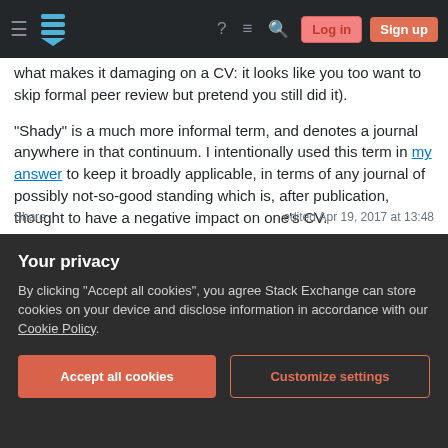Stack Exchange navigation bar with Log in and Sign up buttons
what makes it damaging on a CV: it looks like you too want to skip formal peer review but pretend you still did it).
"Shady" is a much more informal term, and denotes a journal anywhere in that continuum. I intentionally used this term in my answer to keep it broadly applicable, in terms of any journal of possibly not-so-good standing which is, after publication, thought to have a negative impact on one's CV.
Share
edited Apr 19, 2017 at 13:48
Your privacy
By clicking "Accept all cookies", you agree Stack Exchange can store cookies on your device and disclose information in accordance with our Cookie Policy.
Accept all cookies   Customize settings